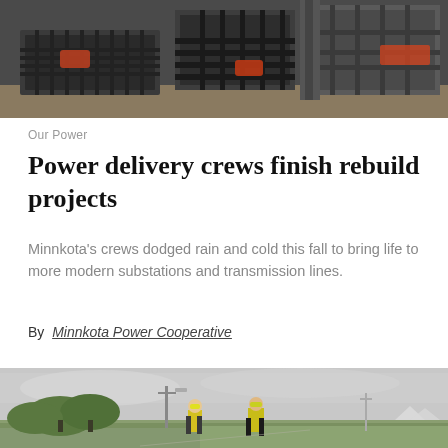[Figure (photo): Close-up photo of construction equipment and steel plates on a work site, showing dark metal mesh and concrete surfaces]
Our Power
Power delivery crews finish rebuild projects
Minnkota's crews dodged rain and cold this fall to bring life to more modern substations and transmission lines.
By Minnkota Power Cooperative
[Figure (photo): Two workers in yellow safety vests and hard hats standing in an open green field with a utility pole and overcast sky in the background]